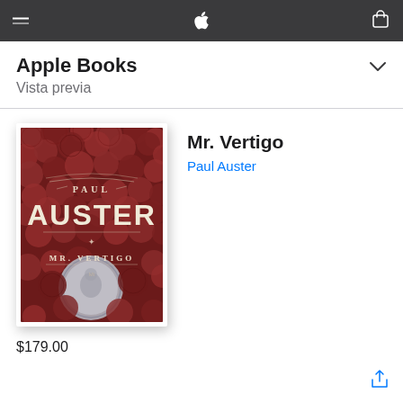Apple Books Vista previa
Mr. Vertigo
Paul Auster
[Figure (illustration): Book cover of 'Mr. Vertigo' by Paul Auster — dark red background filled with copper/bronze coins, white serif text reading 'PAUL AUSTER' in large letters and 'MR. VERTIGO' in smaller letters below, with a silver coin in the foreground]
$179.00